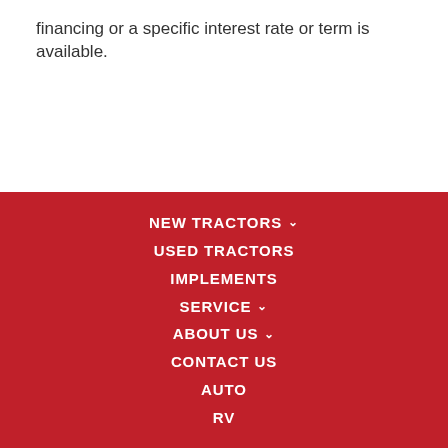financing or a specific interest rate or term is available.
NEW TRACTORS
USED TRACTORS
IMPLEMENTS
SERVICE
ABOUT US
CONTACT US
AUTO
RV